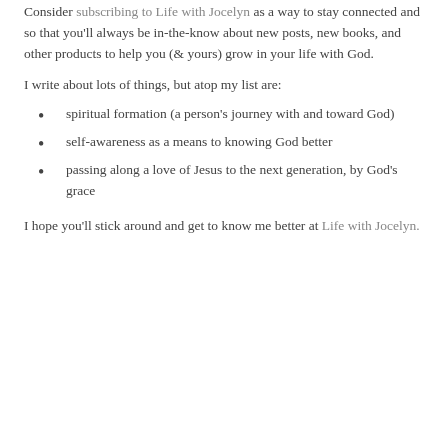Consider subscribing to Life with Jocelyn as a way to stay connected and so that you'll always be in-the-know about new posts, new books, and other products to help you (& yours) grow in your life with God.
I write about lots of things, but atop my list are:
spiritual formation (a person's journey with and toward God)
self-awareness as a means to knowing God better
passing along a love of Jesus to the next generation, by God's grace
I hope you'll stick around and get to know me better at Life with Jocelyn.